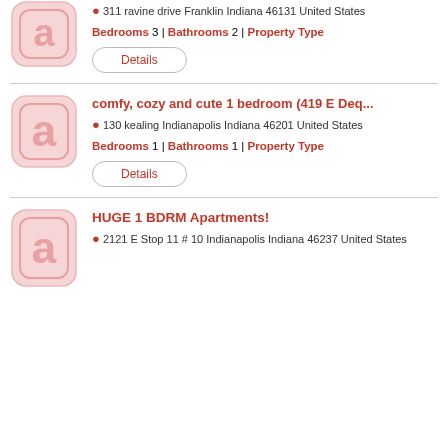311 ravine drive Franklin Indiana 46131 United States
Bedrooms 3 | Bathrooms 2 | Property Type
Details
comfy, cozy and cute 1 bedroom (419 E Deq...
130 kealing Indianapolis Indiana 46201 United States
Bedrooms 1 | Bathrooms 1 | Property Type
Details
HUGE 1 BDRM Apartments!
2121 E Stop 11 # 10 Indianapolis Indiana 46237 United States